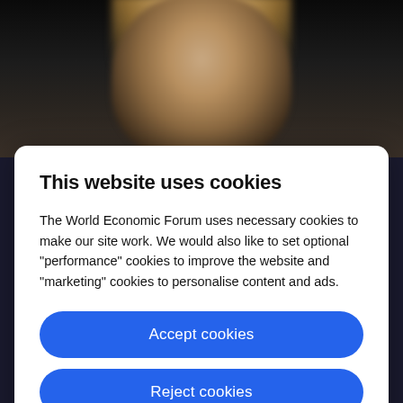[Figure (photo): Blurred/out-of-focus photo of a person with blonde/light hair against a dark background, partially obscured by the cookie consent modal overlay.]
This website uses cookies
The World Economic Forum uses necessary cookies to make our site work. We would also like to set optional “performance” cookies to improve the website and “marketing” cookies to personalise content and ads.
Accept cookies
Reject cookies
Cookie settings